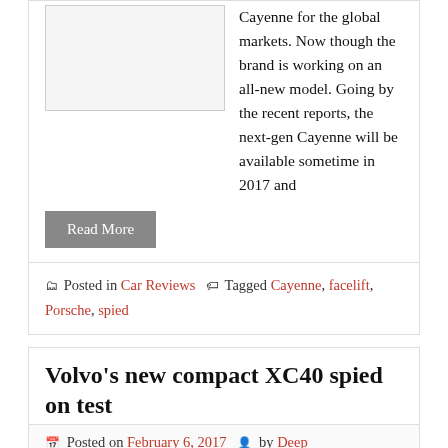Cayenne for the global markets. Now though the brand is working on an all-new model. Going by the recent reports, the next-gen Cayenne will be available sometime in 2017 and
Read More
Posted in Car Reviews  Tagged Cayenne, facelift, Porsche, spied
Volvo's new compact XC40 spied on test
Posted on February 6, 2017  by Deep
Volvo's SUV and crossover range is about to be